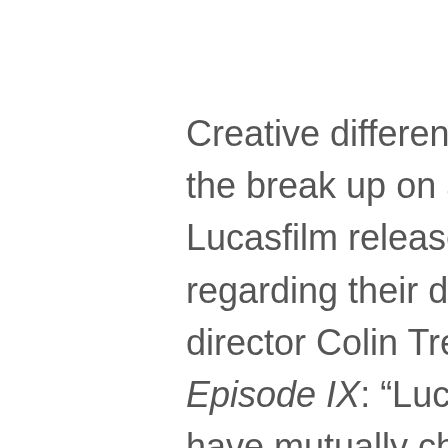Creative differences are now being cited for the break up on a film. Disney and Lucasfilm released a statement today regarding their decision to part ways with director Colin Trevorrow for Star Wars: Episode IX: “Lucasfilm and Colin Trevorrow have mutually chosen to part ways on Star Wars: Episode IX. Colin has been a wonderful collaborator throughout the development process but we have all come to the conclusion that our visions for the project differ. We wish Colin the best and will be sharing more information about the film soon.”
The Jurassic World director was confirmed as part of the franchise a little over 2 years ago, although Episode IX also just got a new writer,